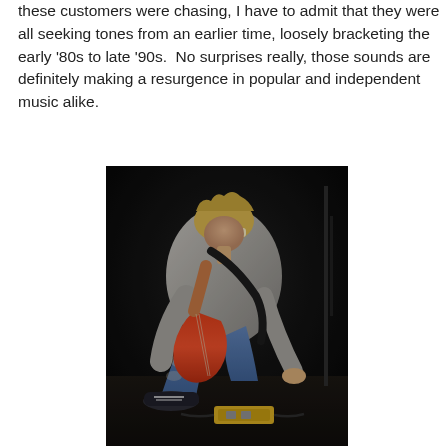these customers were chasing, I have to admit that they were all seeking tones from an earlier time, loosely bracketing the early '80s to late '90s.  No surprises really, those sounds are definitely making a resurgence in popular and independent music alike.
[Figure (photo): Black and white / color concert photo of a musician with blonde hair and sunglasses, crouching on stage while playing a guitar (red electric guitar), wearing a gray jacket and ripped blue jeans with black and white sneakers. He appears to be bending down toward guitar effect pedals on the stage floor. The background is very dark/black stage.]